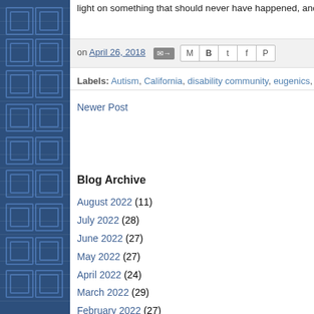light on something that should never have happened, and offer
on April 26, 2018
Labels: Autism, California, disability community, eugenics, government, political s
Newer Post
Blog Archive
August 2022 (11)
July 2022 (28)
June 2022 (27)
May 2022 (27)
April 2022 (24)
March 2022 (29)
February 2022 (27)
January 2022 (31)
December 2021 (30)
November 2021 (29)
October 2021 (29)